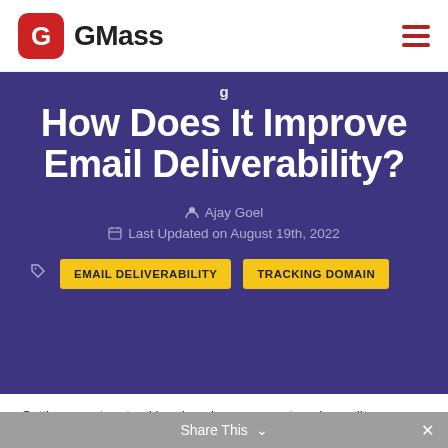GMass
How Does It Improve Email Deliverability?
Ajay Goel
Last Updated on August 19th, 2022
EMAIL DELIVERABILITY  TRACKING DOMAIN
Setting a custom tracking domain on your outreach emails:
improves deliverability, preventing email blocking and